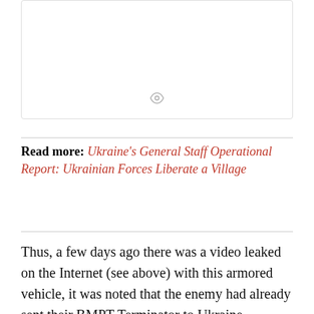[Figure (other): Advertisement placeholder box with an eye/view icon centered near the bottom]
Read more: Ukraine's General Staff Operational Report: Ukrainian Forces Liberate a Village
Thus, a few days ago there was a video leaked on the Internet (see above) with this armored vehicle, it was noted that the enemy had already sent their BMPT Terminator to Ukraine. However, the location and time of filming were unknown, so possibly the video with